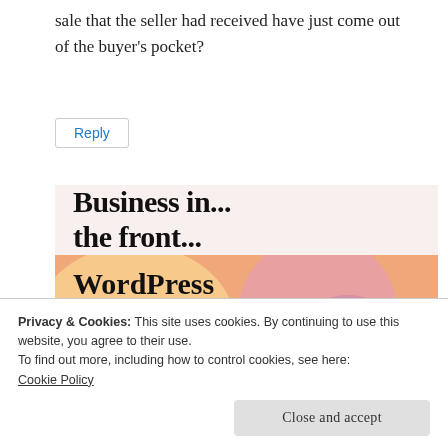sale that the seller had received have just come out of the buyer's pocket?
Reply
[Figure (illustration): Advertisement banner for WordPress. Top section on light pink/beige background shows bold text 'Business in... the front...' and bottom section with colorful blobs (orange, pink, mauve) shows bold text 'WordPress in the back.']
Privacy & Cookies: This site uses cookies. By continuing to use this website, you agree to their use.
To find out more, including how to control cookies, see here:
Cookie Policy
Close and accept